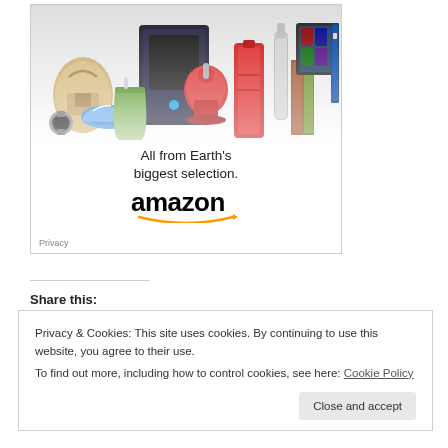[Figure (illustration): Amazon advertisement showing various products (handbag, PlayStation, KitchenAid mixer, luggage, cocktail shaker, books, Kindle tablet, movie case) above text 'All from Earth's biggest selection.' with the Amazon logo and smile graphic below. A 'Privacy' label appears bottom-left.]
Share this:
Privacy & Cookies: This site uses cookies. By continuing to use this website, you agree to their use.
To find out more, including how to control cookies, see here: Cookie Policy
Close and accept